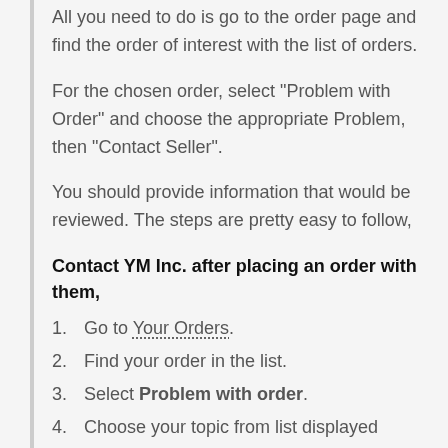All you need to do is go to the order page and find the order of interest with the list of orders.
For the chosen order, select "Problem with Order" and choose the appropriate Problem, then "Contact Seller".
You should provide information that would be reviewed. The steps are pretty easy to follow,
Contact YM Inc. after placing an order with them,
1. Go to Your Orders.
2. Find your order in the list.
3. Select Problem with order.
4. Choose your topic from list displayed